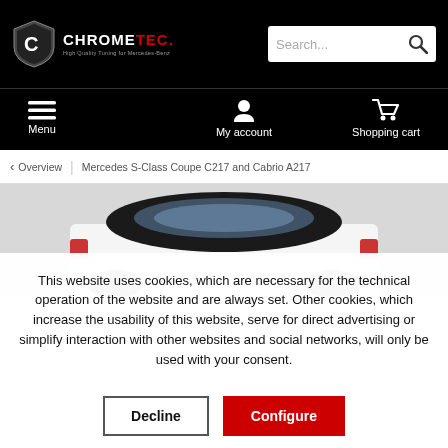CHROMETEC - High Quality Tuning for Mercedes-Benz
[Figure (screenshot): ChromeTec navigation bar with Menu, My account, and Shopping cart icons]
Overview | Mercedes S-Class Coupe C217 and Cabrio A217
[Figure (photo): Rear view of a Mercedes convertible/cabrio with black soft top, gray background]
This website uses cookies, which are necessary for the technical operation of the website and are always set. Other cookies, which increase the usability of this website, serve for direct advertising or simplify interaction with other websites and social networks, will only be used with your consent.
Decline | Configure